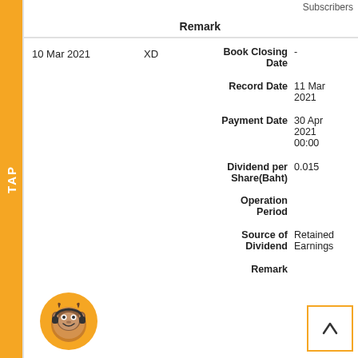Subscribers
Remark
| Date | Type | Field | Value |
| --- | --- | --- | --- |
| 10 Mar 2021 | XD | Book Closing Date | - |
|  |  | Record Date | 11 Mar 2021 |
|  |  | Payment Date | 30 Apr 2021 00:00 |
|  |  | Dividend per Share(Baht) | 0.015 |
|  |  | Operation Period |  |
|  |  | Source of Dividend | Retained Earnings |
|  |  | Remark |  |
[Figure (illustration): Orange circular mascot icon with a bull/cow character wearing headphones, smiling]
[Figure (other): Back to top button with upward arrow, orange border]